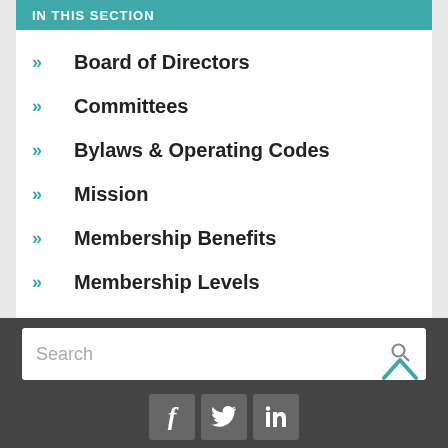IN THIS SECTION
Board of Directors
Committees
Bylaws & Operating Codes
Mission
Membership Benefits
Membership Levels
Archives
Search
[Figure (infographic): Facebook, Twitter, LinkedIn social media icon buttons in a dark footer bar]